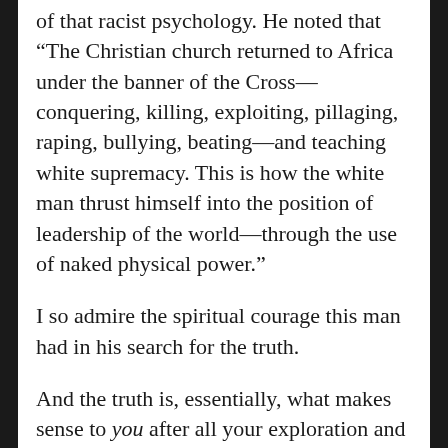of that racist psychology. He noted that “The Christian church returned to Africa under the banner of the Cross—conquering, killing, exploiting, pillaging, raping, bullying, beating—and teaching white supremacy. This is how the white man thrust himself into the position of leadership of the world—through the use of naked physical power.”
I so admire the spiritual courage this man had in his search for the truth.
And the truth is, essentially, what makes sense to you after all your exploration and your quest for authenticity. I say it all the time, no group, no matter who, what, or where is perfect. We always have a mix of good and evil. Or, to be kinder, some have seen the